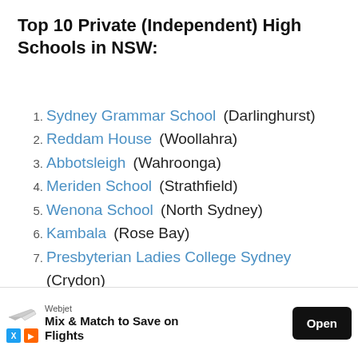Top 10 Private (Independent) High Schools in NSW:
1. Sydney Grammar School (Darlinghurst)
2. Reddam House (Woollahra)
3. Abbotsleigh (Wahroonga)
4. Meriden School (Strathfield)
5. Wenona School (North Sydney)
6. Kambala (Rose Bay)
7. Presbyterian Ladies College Sydney (Crydon)
8. Ascham School (Edgecliff)
9. P... (partially obscured by ad)